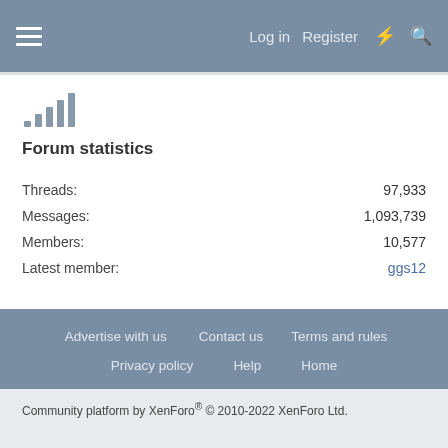Log in  Register
Forum statistics
|  |  |
| --- | --- |
| Threads: | 97,933 |
| Messages: | 1,093,739 |
| Members: | 10,577 |
| Latest member: | ggs12 |
Advertise with us  Contact us  Terms and rules  Privacy policy  Help  Home
Community platform by XenForo® © 2010-2022 XenForo Ltd.